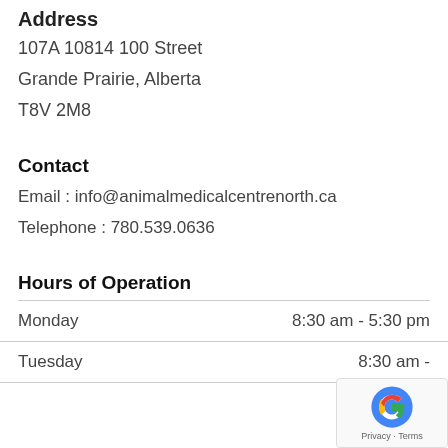Address
107A 10814 100 Street
Grande Prairie, Alberta
T8V 2M8
Contact
Email : info@animalmedicalcentrenorth.ca
Telephone : 780.539.0636
Hours of Operation
| Day | Hours |
| --- | --- |
| Monday | 8:30 am - 5:30 pm |
| Tuesday | 8:30 am - |